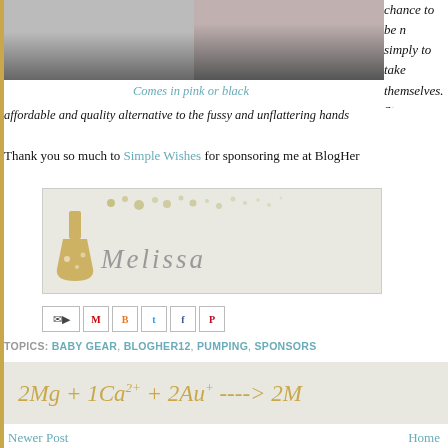[Figure (photo): Two cropped photos of a person wearing dark pants/shorts, side by side]
Comes in pink or black
chance to be moms... simply to take care of themselves. St... innovative, the... affordable and quality alternative to the fussy and unflattering hands
Thank you so much to Simple Wishes for sponsoring me at BlogHer
[Figure (illustration): Signature block with decorative dots and name 'Melissa' in stylized gold/grey font with a flask icon]
[Figure (screenshot): Social sharing icons row: email, Gmail, Blogger, Twitter, Facebook, Pinterest]
TOPICS: BABY GEAR, BLOGHER12, PUMPING, SPONSORS
Newer Post    Home